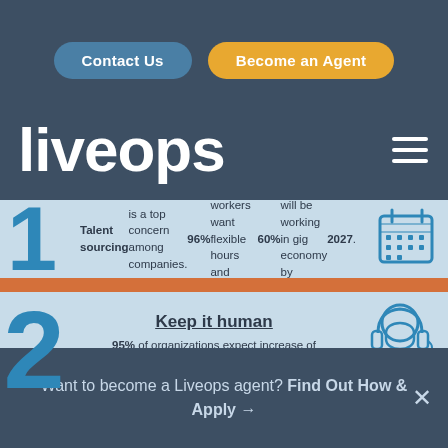Contact Us | Become an Agent
liveops
Talent sourcing is a top concern among companies. 96% of workers want flexible hours and location. 60% will be working in gig economy by 2027.
Keep it human
95% of organizations expect increase of automation. Complex situations require human empathy and skill.
Learning is essential
75% of workers seek development...
Want to become a Liveops agent? Find Out How & Apply →